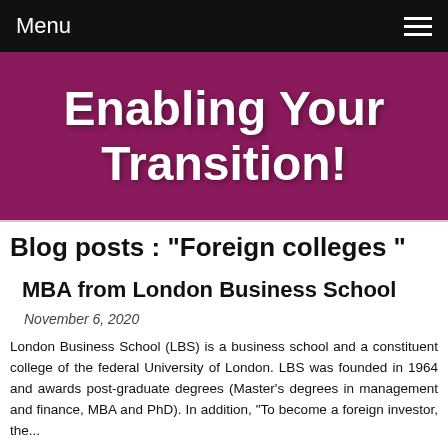Menu
Enabling Your Transition!
Blog posts : "Foreign colleges "
MBA from London Business School
November 6, 2020
London Business School (LBS) is a business school and a constituent college of the federal University of London. LBS was founded in 1964 and awards post-graduate degrees (Master's degrees in management and finance, MBA and PhD). In addition, "To become a foreign investor, the..."